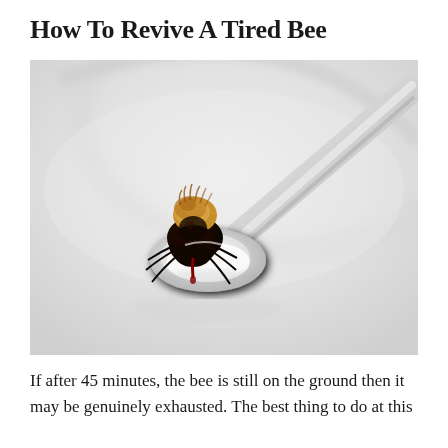How To Revive A Tired Bee
[Figure (photo): Close-up photograph of a bumblebee perched on a silver spoon containing what appears to be sugar or liquid, against a white background with a blurred plate.]
If after 45 minutes, the bee is still on the ground then it may be genuinely exhausted. The best thing to do at this